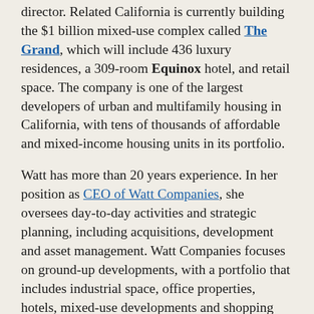director. Related California is currently building the $1 billion mixed-use complex called The Grand, which will include 436 luxury residences, a 309-room Equinox hotel, and retail space. The company is one of the largest developers of urban and multifamily housing in California, with tens of thousands of affordable and mixed-income housing units in its portfolio.
Watt has more than 20 years experience. In her position as CEO of Watt Companies, she oversees day-to-day activities and strategic planning, including acquisitions, development and asset management. Watt Companies focuses on ground-up developments, with a portfolio that includes industrial space, office properties, hotels, mixed-use developments and shopping centers in L.A.; Salt Lake City, Utah; and Las Vegas.
Cushman & Wakefield also announced that Kimberly Brown joined the brokerage as managing director in L.A., focused on business development in California. Brown has